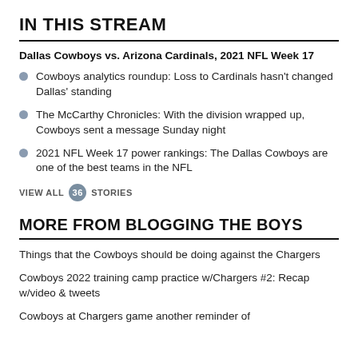IN THIS STREAM
Dallas Cowboys vs. Arizona Cardinals, 2021 NFL Week 17
Cowboys analytics roundup: Loss to Cardinals hasn't changed Dallas' standing
The McCarthy Chronicles: With the division wrapped up, Cowboys sent a message Sunday night
2021 NFL Week 17 power rankings: The Dallas Cowboys are one of the best teams in the NFL
VIEW ALL 36 STORIES
MORE FROM BLOGGING THE BOYS
Things that the Cowboys should be doing against the Chargers
Cowboys 2022 training camp practice w/Chargers #2: Recap w/video & tweets
Cowboys at Chargers game another reminder of